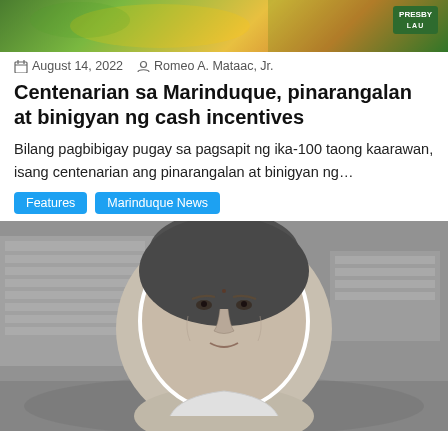[Figure (photo): Top banner image showing sports/event scene with green and yellow colors and a PRESBY LAU logo badge in the upper right corner]
August 14, 2022   Romeo A. Mataac, Jr.
Centenarian sa Marinduque, pinarangalan at binigyan ng cash incentives
Bilang pagbibigay pugay sa pagsapit ng ika-100 taong kaarawan, isang centenarian ang pinarangalan at binigyan ng...
Features
Marinduque News
[Figure (photo): Black and white photo of an elderly Filipino woman with a building in the background, presented as a cutout portrait]